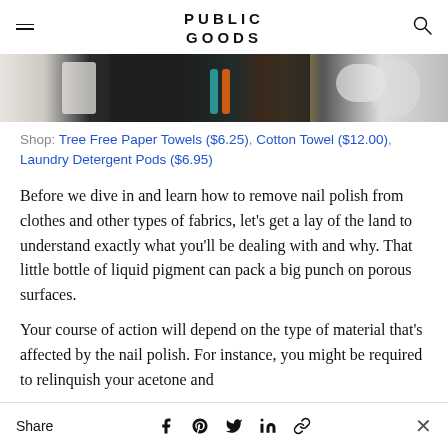PUBLIC GOODS
[Figure (photo): Partial photo strip showing cleaning/laundry items including towels and toothbrushes on a dark background]
Shop: Tree Free Paper Towels ($6.25), Cotton Towel ($12.00), Laundry Detergent Pods ($6.95)
Before we dive in and learn how to remove nail polish from clothes and other types of fabrics, let’s get a lay of the land to understand exactly what you’ll be dealing with and why. That little bottle of liquid pigment can pack a big punch on porous surfaces.
Your course of action will depend on the type of material that’s affected by the nail polish. For instance, you might be required to relinquish your acetone and
Share  [facebook] [pinterest] [twitter] [linkedin] [link]  ×